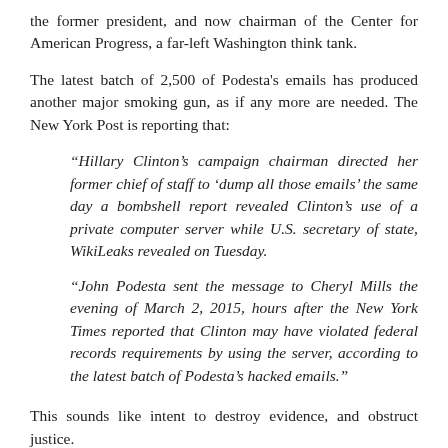the former president, and now chairman of the Center for American Progress, a far-left Washington think tank.
The latest batch of 2,500 of Podesta's emails has produced another major smoking gun, as if any more are needed. The New York Post is reporting that:
“Hillary Clinton’s campaign chairman directed her former chief of staff to ‘dump all those emails’ the same day a bombshell report revealed Clinton’s use of a private computer server while U.S. secretary of state, WikiLeaks revealed on Tuesday.
“John Podesta sent the message to Cheryl Mills the evening of March 2, 2015, hours after the New York Times reported that Clinton may have violated federal records requirements by using the server, according to the latest batch of Podesta’s hacked emails.”
This sounds like intent to destroy evidence, and obstruct justice.